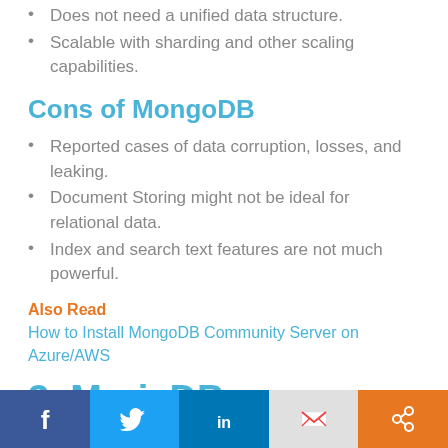Does not need a unified data structure.
Scalable with sharding and other scaling capabilities.
Cons of MongoDB
Reported cases of data corruption, losses, and leaking.
Document Storing might not be ideal for relational data.
Index and search text features are not much powerful.
Also Read
How to Install MongoDB Community Server on Azure/AWS
3.  MariaDB